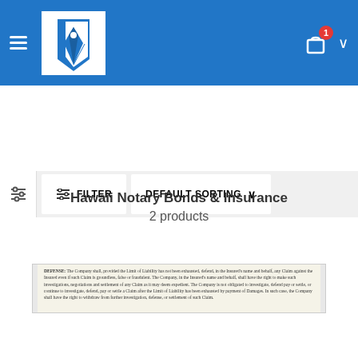[Figure (screenshot): Website header with blue background, pen/quill logo, hamburger menu icon on left, shopping cart with badge showing 1 item on right with dropdown chevron]
[Figure (screenshot): Filter bar with sliding panel icon, FILTER button with sliders icon, and DEFAULT SORTING dropdown button]
[Figure (screenshot): Partial view of an insurance policy document showing DEFENSE clause text]
Hawaii Notary Bonds & Insurance
2 products
[Figure (photo): Product card image showing a dark navy/black textured cover with a horizontal white line and partially visible text below, set on a light gray background]